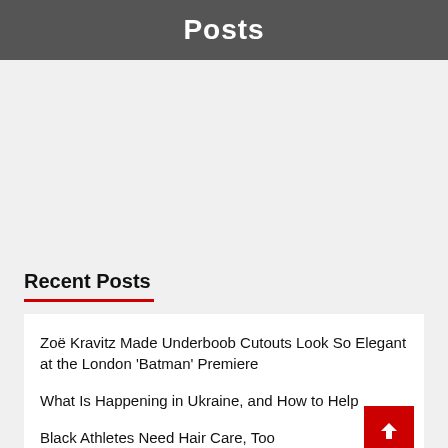Posts
Recent Posts
Zoë Kravitz Made Underboob Cutouts Look So Elegant at the London ‘Batman’ Premiere
What Is Happening in Ukraine, and How to Help
Black Athletes Need Hair Care, Too